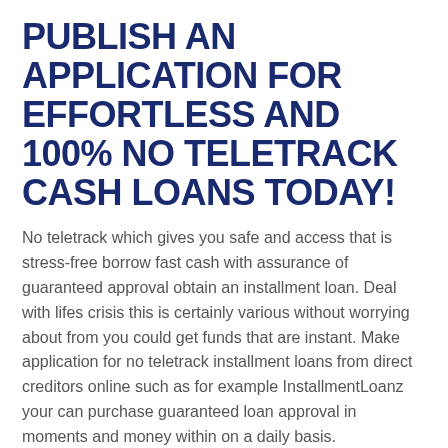PUBLISH AN APPLICATION FOR EFFORTLESS AND 100% NO TELETRACK CASH LOANS TODAY!
No teletrack which gives you safe and access that is stress-free borrow fast cash with assurance of guaranteed approval obtain an installment loan. Deal with lifes crisis this is certainly various without worrying about from you could get funds that are instant. Make application for no teletrack installment loans from direct creditors online such as for example InstallmentLoanz your can purchase guaranteed loan approval in moments and money within on a daily basis.